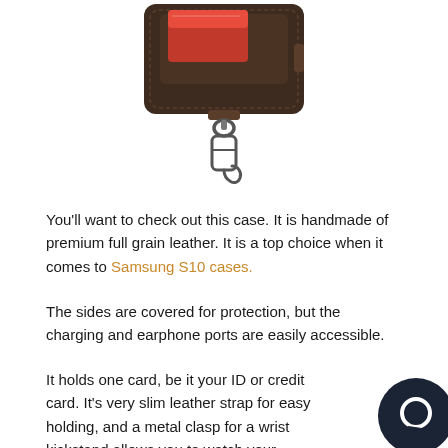[Figure (photo): Product photo of a dark brown leather phone case with a card slot showing a red card, and a metal keychain clasp/hook attached at the bottom.]
You'll want to check out this case. It is handmade of premium full grain leather. It is a top choice when it comes to Samsung S10 cases.
The sides are covered for protection, but the charging and earphone ports are easily accessible.
It holds one card, be it your ID or credit card. It's very slim leather strap for easy holding, and a metal clasp for a wrist kickstand allows you to watch your favorite videos hands-free.
[Figure (illustration): Dark navy circular chat/support bubble icon in the bottom right corner.]